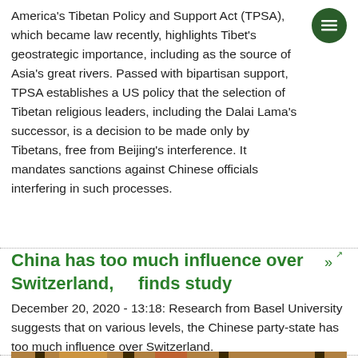America's Tibetan Policy and Support Act (TPSA), which became law recently, highlights Tibet's geostrategic importance, including as the source of Asia's great rivers. Passed with bipartisan support, TPSA establishes a US policy that the selection of Tibetan religious leaders, including the Dalai Lama's successor, is a decision to be made only by Tibetans, free from Beijing's interference. It mandates sanctions against Chinese officials interfering in such processes.
China has too much influence over Switzerland, finds study
December 20, 2020 - 13:18: Research from Basel University suggests that on various levels, the Chinese party-state has too much influence over Switzerland.
[Figure (photo): A photograph showing flags and a portrait or figurine, appears to be a ceremonial or political setting.]